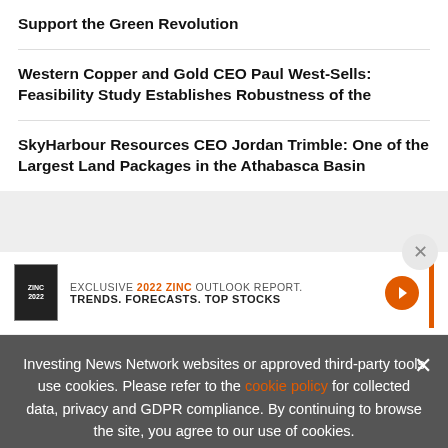Support the Green Revolution
Western Copper and Gold CEO Paul West-Sells: Feasibility Study Establishes Robustness of the
SkyHarbour Resources CEO Jordan Trimble: One of the Largest Land Packages in the Athabasca Basin
[Figure (screenshot): Advertisement banner: EXCLUSIVE 2022 ZINC OUTLOOK REPORT. TRENDS. FORECASTS. TOP STOCKS. with orange arrow button and vertical orange bar, close X button]
Investing News Network websites or approved third-party tools use cookies. Please refer to the cookie policy for collected data, privacy and GDPR compliance. By continuing to browse the site, you agree to our use of cookies.